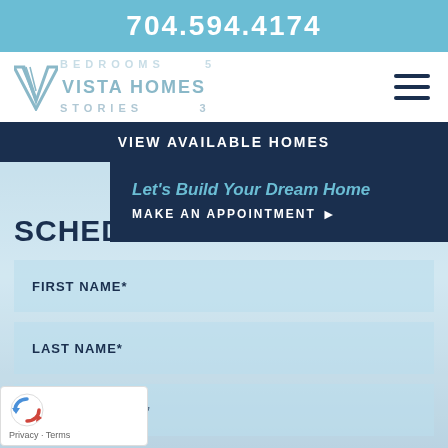704.594.4174
[Figure (logo): Vista Homes logo with stylized V and text]
VIEW AVAILABLE HOMES
[Figure (screenshot): Dropdown overlay with 'Let's Build Your Dream Home' and 'MAKE AN APPOINTMENT' button on dark navy background]
SCHEDUL
FIRST NAME*
LAST NAME*
MOBILE PHONE*
[Figure (logo): reCAPTCHA logo with Privacy and Terms links]